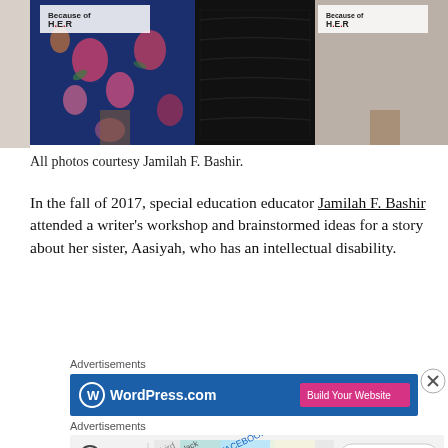[Figure (photo): Photo of two people standing in front of a step-and-repeat banner reading 'Because of H.E.R'. One person wears a navy blue floral dress, the other wears a black lace dress.]
All photos courtesy Jamilah F. Bashir.
In the fall of 2017, special education educator Jamilah F. Bashir attended a writer's workshop and brainstormed ideas for a story about her sister, Aasiyah, who has an intellectual disability.
Advertisements
[Figure (screenshot): WordPress.com advertisement banner with blue background and pink 'Build Your Website' button]
Advertisements
[Figure (screenshot): WordPress VIP advertisement banner with cards showing various logos and a 'Learn more' button]